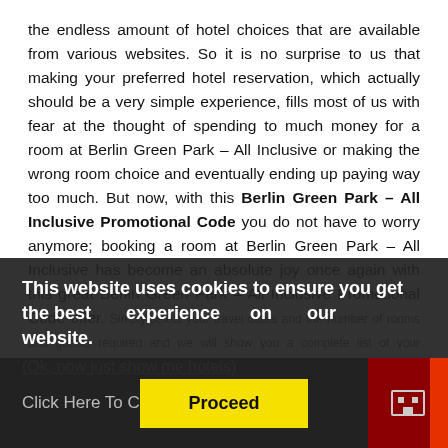the endless amount of hotel choices that are available from various websites. So it is no surprise to us that making your preferred hotel reservation, which actually should be a very simple experience, fills most of us with fear at the thought of spending to much money for a room at Berlin Green Park – All Inclusive or making the wrong room choice and eventually ending up paying way too much. But now, with this Berlin Green Park – All Inclusive Promotional Code you do not have to worry anymore; booking a room at Berlin Green Park – All Inclusive has become an absolute joy once again with this great Berlin Green Park – All Inclusive Promotional Code offer. Simply select your travel dates and the number of rooms and guests required and we will show you a complete list of your preliminary search results.
This website uses cookies to ensure you get the best experience on our website. (Ok, now just show me hotels)
Click Here To Claim This Promo
Proceed